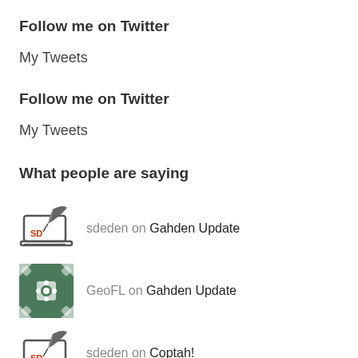Follow me on Twitter
My Tweets
Follow me on Twitter
My Tweets
What people are saying
sdeden on Gahden Update
GeoFL on Gahden Update
sdeden on Coptah!
GeoFL on Coptah!